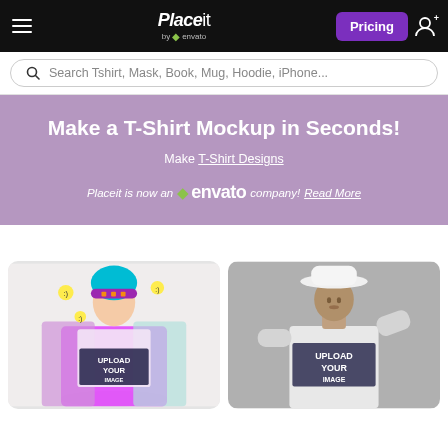Placeit by envato — Pricing — User
Search Tshirt, Mask, Book, Mug, Hoodie, iPhone...
Make a T-Shirt Mockup in Seconds!
Make T-Shirt Designs
Placeit is now an envato company! Read More
[Figure (photo): Colorful illustrated woman wearing a purple and teal beanie and hoodie with 'UPLOAD YOUR IMAGE 750x750 px' text on the shirt]
[Figure (photo): Black and white photo of a man wearing a wide brim hat and white t-shirt with 'UPLOAD YOUR IMAGE' text on the shirt]